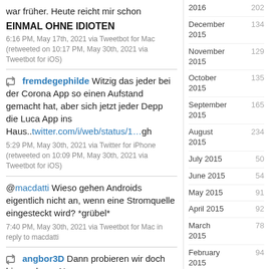war früher. Heute reicht mir schon
EINMAL OHNE IDIOTEN
6:16 PM, May 17th, 2021 via Tweetbot for Mac (retweeted on 10:17 PM, May 30th, 2021 via Tweetbot for iOS)
fremdegephilde Witzig das jeder bei der Corona App so einen Aufstand gemacht hat, aber sich jetzt jeder Depp die Luca App ins Haus..twitter.com/i/web/status/1...gh
5:29 PM, May 30th, 2021 via Twitter for iPhone (retweeted on 10:09 PM, May 30th, 2021 via Tweetbot for iOS)
@macdatti Wieso gehen Androids eigentlich nicht an, wenn eine Stromquelle eingesteckt wird? *grübel*
7:40 PM, May 30th, 2021 via Tweetbot for Mac in reply to macdatti
angbor3D Dann probieren wir doch hier mal was Neues aus:
2016 202
December 2015 134
November 2015 129
October 2015 135
September 2015 165
August 2015 234
July 2015 50
June 2015 54
May 2015 91
April 2015 92
March 2015 78
February 2015 94
January 2015 100